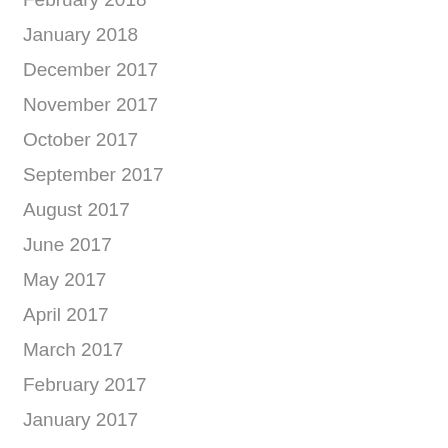February 2018
January 2018
December 2017
November 2017
October 2017
September 2017
August 2017
June 2017
May 2017
April 2017
March 2017
February 2017
January 2017
February 2016
September 2015